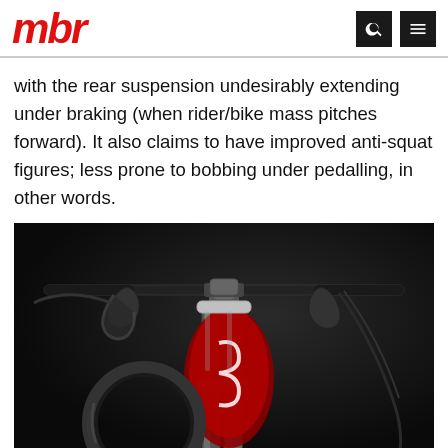mbr
with the rear suspension undesirably extending under braking (when rider/bike mass pitches forward). It also claims to have improved anti-squat figures; less prone to bobbing under pedalling, in other words.
[Figure (photo): Close-up photo of a mountain bike's front end/cockpit area showing handlebars with brake levers, fork, and a red and silver Specialized branded frame/front suspension on a dark background.]